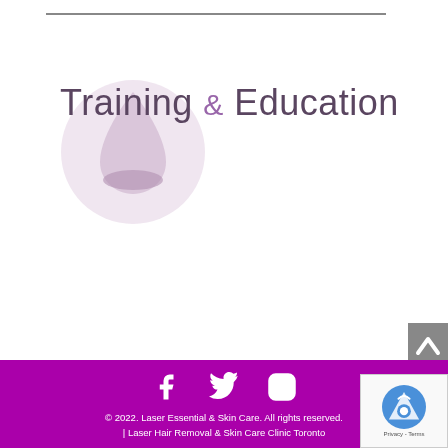[Figure (logo): Circular logo with drop/teardrop shape and text overlay, next to 'Training & Education' heading]
Training & Education
[Figure (other): Grey scroll-to-top button with upward chevron arrow on right side]
© 2022. Laser Essential & Skin Care. All rights reserved. | Laser Hair Removal & Skin Care Clinic Toronto
[Figure (other): reCAPTCHA badge with logo, Privacy and Terms links]